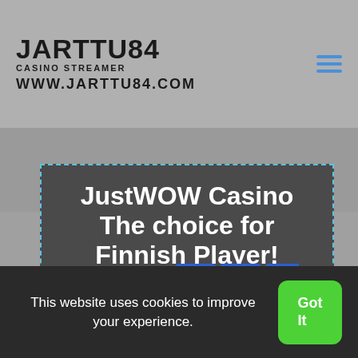JARTTU84 CASINO STREAMER WWW.JARTTU84.COM
JustWOW Casino The choice for Finnish Player!
[Figure (logo): JustWOW Casino logo with JUST text and WOW in blue square blocks]
This website uses cookies to improve your experience.